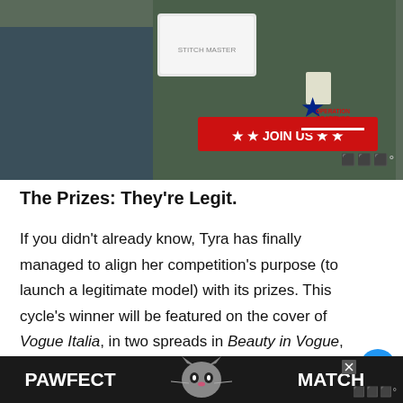[Figure (photo): Photo of people in military uniforms exchanging a white box, with 'JOIN US' banner in red and 'Operation Gratitude' logo overlay]
The Prizes: They're Legit.
If you didn't already know, Tyra has finally managed to align her competition's purpose (to launch a legitimate model) with its prizes. This cycle's winner will be featured on the cover of Vogue Italia, in two spreads in Beauty in Vogue, get signed with IMG Models and still get that coveted Covergirl contract. In her pr[...]to[...]
[Figure (advertisement): PAWFECT MATCH advertisement banner at the bottom of the page, dark background with cat image]